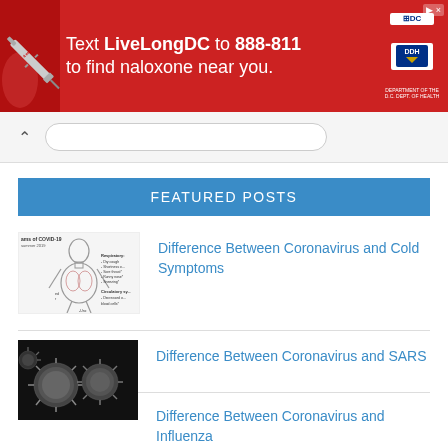[Figure (infographic): Red advertisement banner: Text LiveLongDC to 888-811 to find naloxone near you. With DC Department of Health logos on right side.]
FEATURED POSTS
[Figure (illustration): Medical diagram showing symptoms of COVID-19 on a human body outline with respiratory and circulatory labels]
Difference Between Coronavirus and Cold Symptoms
[Figure (photo): Black and white electron microscope image of coronavirus particles]
Difference Between Coronavirus and SARS
Difference Between Coronavirus and Influenza